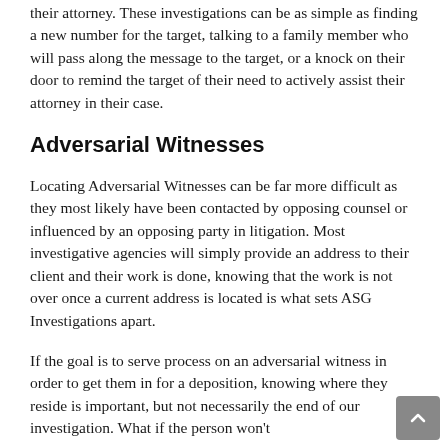their attorney. These investigations can be as simple as finding a new number for the target, talking to a family member who will pass along the message to the target, or a knock on their door to remind the target of their need to actively assist their attorney in their case.
Adversarial Witnesses
Locating Adversarial Witnesses can be far more difficult as they most likely have been contacted by opposing counsel or influenced by an opposing party in litigation. Most investigative agencies will simply provide an address to their client and their work is done, knowing that the work is not over once a current address is located is what sets ASG Investigations apart.
If the goal is to serve process on an adversarial witness in order to get them in for a deposition, knowing where they reside is important, but not necessarily the end of our investigation. What if the person won't